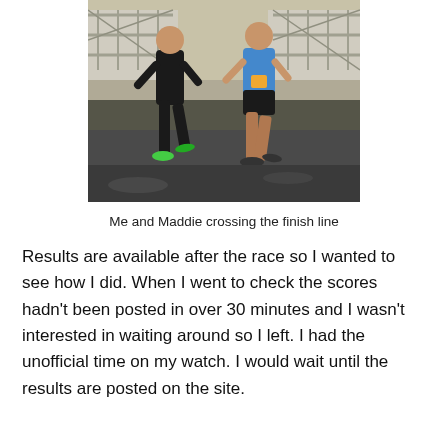[Figure (photo): Two runners crossing or approaching the finish line of a race. One runner on the left wears black shorts and a dark top with bright green running shoes. The runner on the right wears a blue tank top, black shorts, and dark shoes with a race bib. Metal barriers are visible in the background.]
Me and Maddie crossing the finish line
Results are available after the race so I wanted to see how I did. When I went to check the scores hadn't been posted in over 30 minutes and I wasn't interested in waiting around so I left. I had the unofficial time on my watch. I would wait until the results are posted on the site.